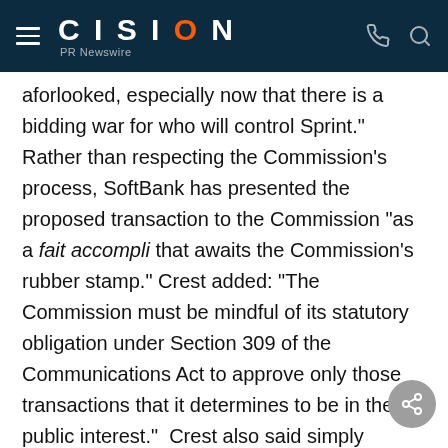CISION PR Newswire
aforlooked, especially now that there is a bidding war for who will control Sprint." Rather than respecting the Commission's process, SoftBank has presented the proposed transaction to the Commission "as a fait accompli that awaits the Commission's rubber stamp." Crest added: "The Commission must be mindful of its statutory obligation under Section 309 of the Communications Act to approve only those transactions that it determines to be in the public interest." Crest also said simply rubber stamping "an effectively completed transaction would risk impermissibly delegating a core Commission responsibility—verifying that the proposed deal is in fact in the public interest—to SoftBank, Sprint, and